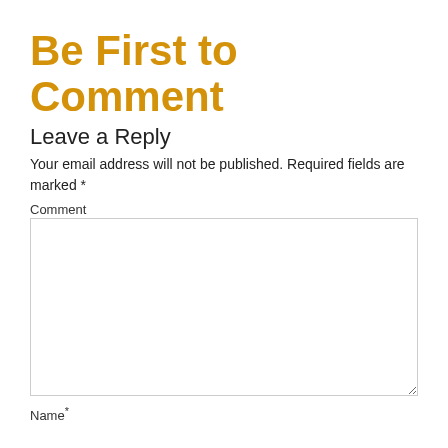Be First to Comment
Leave a Reply
Your email address will not be published. Required fields are marked *
Comment
Name*